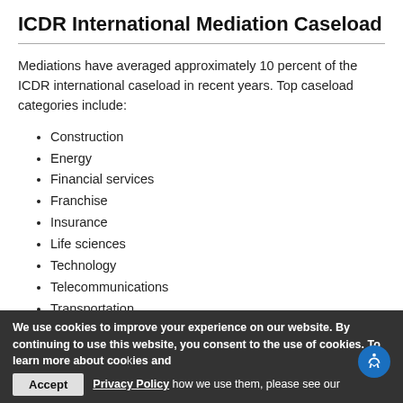ICDR International Mediation Caseload
Mediations have averaged approximately 10 percent of the ICDR international caseload in recent years. Top caseload categories include:
Construction
Energy
Financial services
Franchise
Insurance
Life sciences
Technology
Telecommunications
Transportation
International mediations include:
Multi-million dollar claim under the International Mediation Procedures over a license, supply and distribution agreement
We use cookies to improve your experience on our website. By continuing to use this website, you consent to the use of cookies. To learn more about cookies and how we use them, please see our Privacy Policy